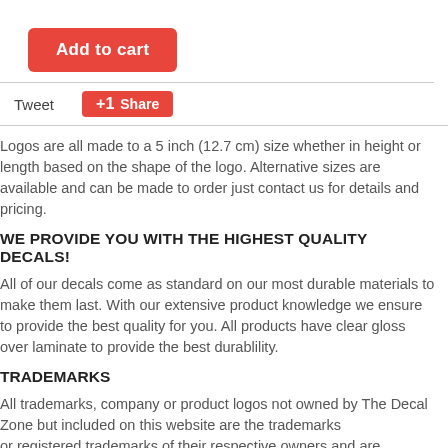[Figure (other): Red 'Add to cart' button]
Tweet
[Figure (other): Red '+1 Share' button]
Logos are all made to a 5 inch (12.7 cm) size whether in height or length based on the shape of the logo. Alternative sizes are available and can be made to order just contact us for details and pricing.
WE PROVIDE YOU WITH THE HIGHEST QUALITY DECALS!
All of our decals come as standard on our most durable materials to make them last. With our extensive product knowledge we ensure to provide the best quality for you. All products have clear gloss over laminate to provide the best durablility.
TRADEMARKS
All trademarks, company or product logos not owned by The Decal Zone but included on this website are the trademarks or registered trademarks of their respective owners and are provided as